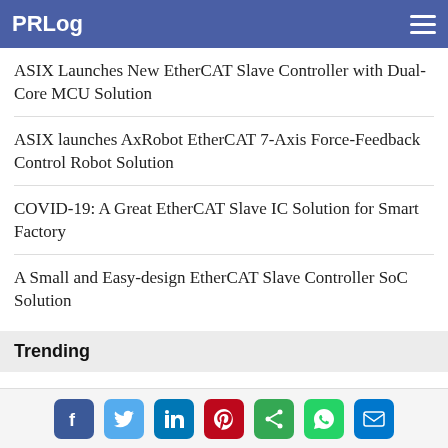PRLog
ASIX Launches New EtherCAT Slave Controller with Dual-Core MCU Solution
ASIX launches AxRobot EtherCAT 7-Axis Force-Feedback Control Robot Solution
COVID-19: A Great EtherCAT Slave IC Solution for Smart Factory
A Small and Easy-design EtherCAT Slave Controller SoC Solution
Trending
Executives in Pharma and Health Tech Join National Minority Health Assn. Efforts for Health Equity
A Place to Call Our Own, the new EP from Liverpool UK band Joe Symes and the Loving Kind, getting power lifts from fans and
Social share icons: Facebook, Twitter, LinkedIn, Pinterest, Share, WhatsApp, Email